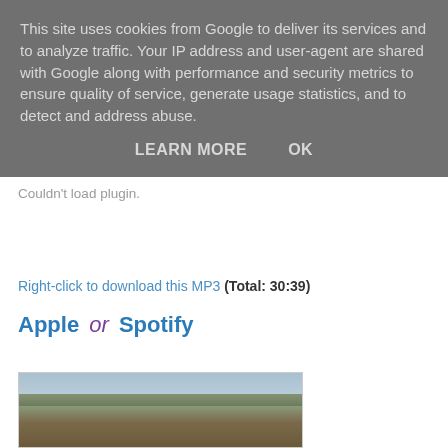This site uses cookies from Google to deliver its services and to analyze traffic. Your IP address and user-agent are shared with Google along with performance and security metrics to ensure quality of service, generate usage statistics, and to detect and address abuse.
LEARN MORE   OK
Couldn't load plugin.
Right-click to download this MP3 (Total: 30:39)
Apple or Spotify
[Figure (photo): Landscape photo showing a wide arid canyon or badlands terrain with hills and mesa formations under a cloudy sky]